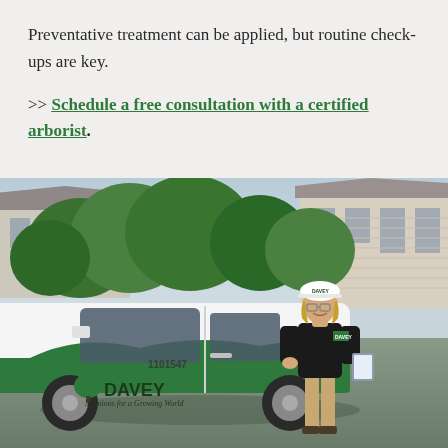Preventative treatment can be applied, but routine check-ups are key.
>> Schedule a free consultation with a certified arborist.
[Figure (photo): A Davey Tree arborist (woman wearing white hard hat, black polo shirt, khaki pants, holding a clipboard) standing next to a white and green Davey-branded vehicle (number 1101547) in front of a suburban house with trees. The vehicle displays the Davey logo and tagline 'Solutions for a Growing World'.]